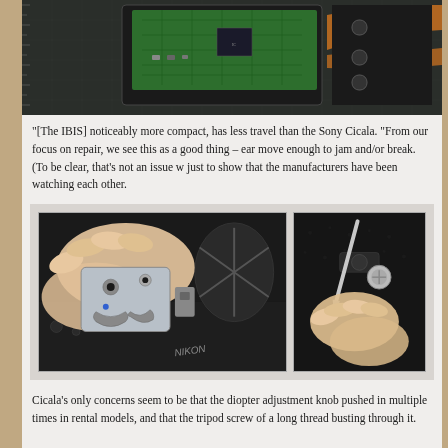[Figure (photo): Close-up photo of a disassembled camera showing internal circuit board with flex cables and electronic components on a cutting mat]
“[The IBIS] noticeably more compact, has less travel than the Sony Cicala. “From our focus on repair, we see this as a good thing – ear move enough to jam and/or break. (To be clear, that’s not an issue w just to show that the manufacturers have been watching each other.
[Figure (photo): Two photos side by side: left shows hands holding a disassembled camera IBIS module with metal bracket visible, right shows hands using a tool on a camera]
Cicala’s only concerns seem to be that the diopter adjustment knob pushed in multiple times in rental models, and that the tripod screw of a long thread busting through it.